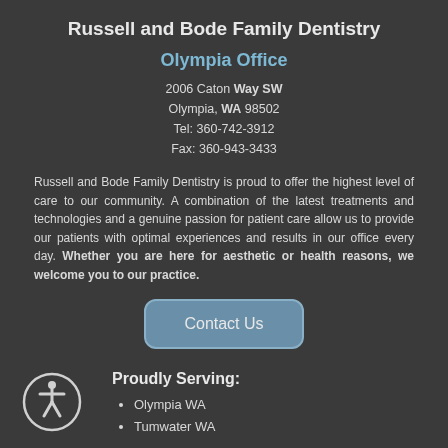Russell and Bode Family Dentistry
Olympia Office
2006 Caton Way SW
Olympia, WA 98502
Tel: 360-742-3912
Fax: 360-943-3433
Russell and Bode Family Dentistry is proud to offer the highest level of care to our community. A combination of the latest treatments and technologies and a genuine passion for patient care allow us to provide our patients with optimal experiences and results in our office every day. Whether you are here for aesthetic or health reasons, we welcome you to our practice.
Contact Us
Proudly Serving:
Olympia WA
Tumwater WA